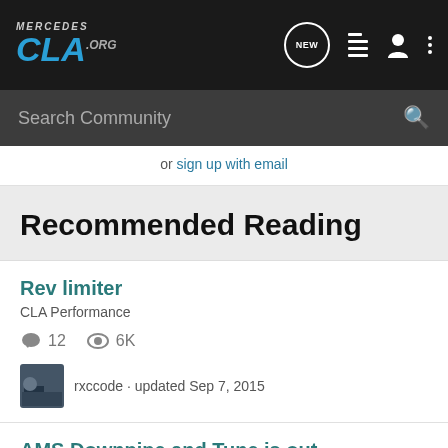MercedesCLA.org — navigation header with logo, NEW chat icon, list icon, user icon, dots menu
Search Community
or sign up with email
Recommended Reading
Rev limiter
CLA Performance
12   6K
rxccode · updated Sep 7, 2015
AMS Downpipe and Tune is out